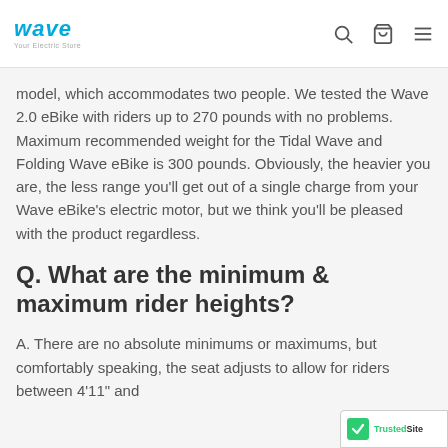wave — Your Electric Store
model, which accommodates two people. We tested the Wave 2.0 eBike with riders up to 270 pounds with no problems. Maximum recommended weight for the Tidal Wave and Folding Wave eBike is 300 pounds. Obviously, the heavier you are, the less range you'll get out of a single charge from your Wave eBike's electric motor, but we think you'll be pleased with the product regardless.
Q. What are the minimum & maximum rider heights?
A. There are no absolute minimums or maximums, but comfortably speaking, the seat adjusts to allow for riders between 4'11" and